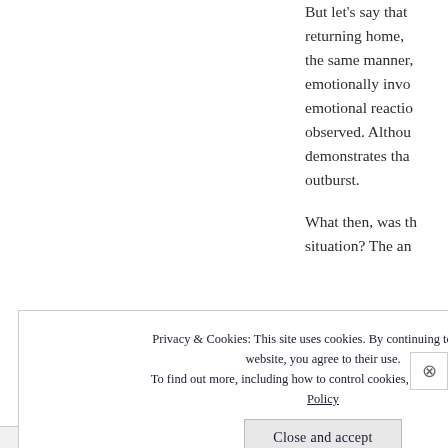But let's say that returning home, the same manner, emotionally invo emotional reactio observed. Althou demonstrates tha outburst.
What then, was th situation? The an
Privacy & Cookies: This site uses cookies. By continuing to use this website, you agree to their use.
To find out more, including how to control cookies, see here: Cookie Policy
Close and accept